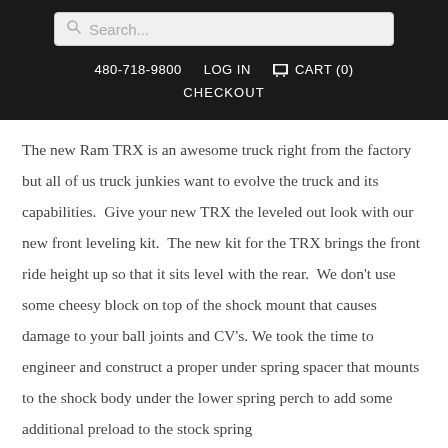Search... 480-718-9800 LOG IN CART (0) CHECKOUT
The new Ram TRX is an awesome truck right from the factory but all of us truck junkies want to evolve the truck and its capabilities. Give your new TRX the leveled out look with our new front leveling kit. The new kit for the TRX brings the front ride height up so that it sits level with the rear. We don't use some cheesy block on top of the shock mount that causes damage to your ball joints and CV's. We took the time to engineer and construct a proper under spring spacer that mounts to the shock body under the lower spring perch to add some additional preload to the stock spring